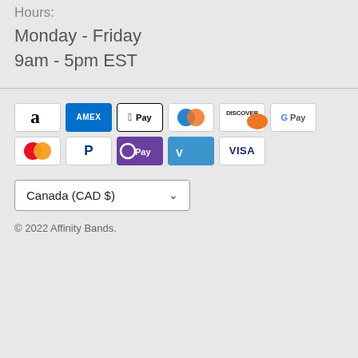Hours:
Monday - Friday
9am - 5pm EST
[Figure (other): Payment method icons: Amazon Pay, Amex, Apple Pay, Diners Club, Discover, Google Pay, Mastercard, PayPal, OPay, Venmo, Visa]
Canada (CAD $)
© 2022 Affinity Bands.